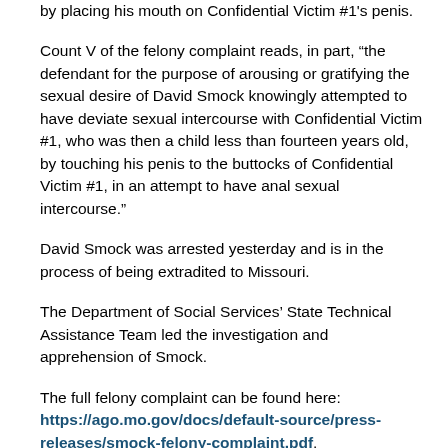by placing his mouth on Confidential Victim #1's penis.
Count V of the felony complaint reads, in part, “the defendant for the purpose of arousing or gratifying the sexual desire of David Smock knowingly attempted to have deviate sexual intercourse with Confidential Victim #1, who was then a child less than fourteen years old, by touching his penis to the buttocks of Confidential Victim #1, in an attempt to have anal sexual intercourse.”
David Smock was arrested yesterday and is in the process of being extradited to Missouri.
The Department of Social Services’ State Technical Assistance Team led the investigation and apprehension of Smock.
The full felony complaint can be found here: https://ago.mo.gov/docs/default-source/press-releases/smock-felony-complaint.pdf.
The charges against Smock are allegations and, as in all criminal cases, the defendant is presumed innocent unless or until proven guilty in a court of law.